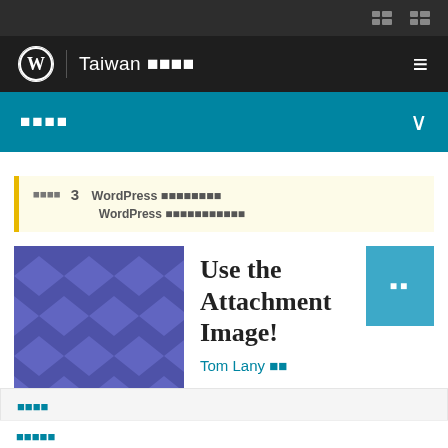WordPress Taiwan 社群
議程表
全部議程  3  WordPress 演講精彩豐富！ WordPress 是全球最受歡迎的網站架設工具！
[Figure (illustration): Blue/purple diamond pattern thumbnail image for article]
Use the Attachment Image!
Tom Lany 著作
討論區
相關詞彙